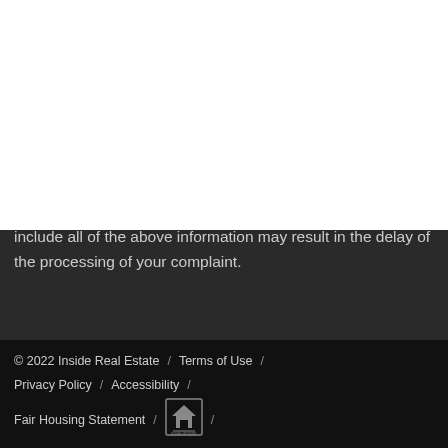[Figure (logo): Black Lion Realty logo with two lion figures and text BLACK LION REALTY]
authorized to act on the copyright owners behalf. Failure to include all of the above information may result in the delay of the processing of your complaint.
© 2022 Inside Real Estate / Terms of Use / Privacy Policy / Accessibility / Fair Housing Statement /
[Figure (logo): Google Translate Select Language dropdown widget]
[Figure (logo): Equal Housing Opportunity logo]